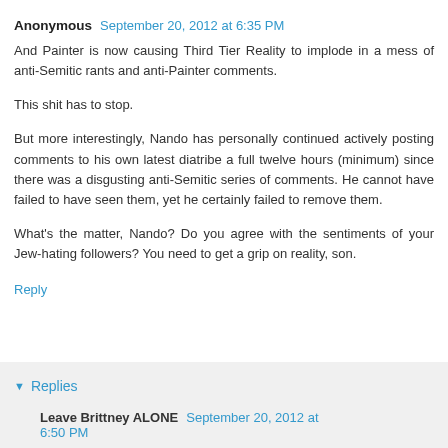Anonymous  September 20, 2012 at 6:35 PM
And Painter is now causing Third Tier Reality to implode in a mess of anti-Semitic rants and anti-Painter comments.
This shit has to stop.
But more interestingly, Nando has personally continued actively posting comments to his own latest diatribe a full twelve hours (minimum) since there was a disgusting anti-Semitic series of comments. He cannot have failed to have seen them, yet he certainly failed to remove them.
What's the matter, Nando? Do you agree with the sentiments of your Jew-hating followers? You need to get a grip on reality, son.
Reply
Replies
Leave Brittney ALONE  September 20, 2012 at 6:50 PM